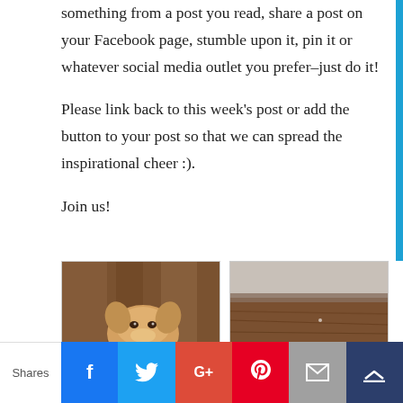something from a post you read, share a post on your Facebook page, stumble upon it, pin it or whatever social media outlet you prefer–just do it!
Please link back to this week's post or add the button to your post so that we can spread the inspirational cheer :).
Join us!
[Figure (photo): Photo of a dog (appears to be a Corgi or similar breed) resting its head, photographed in a warm wooden setting]
[Figure (photo): Photo with text overlay reading 'Prayer is a partnership', showing a rustic outdoor or ground-level scene]